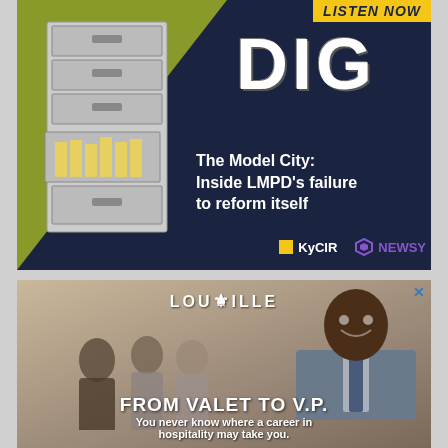[Figure (illustration): Advertisement for DIG podcast: 'The Model City: Inside LMPD's failure to reform itself' by KyCIR and Newsy. Dark navy background with yellow-green diagonal wedge, filing cabinet illustration on left, large 'DIG' text in white grunge font, 'LISTEN NOW' badge top right, KyCIR and Newsy logos at bottom.]
[Figure (illustration): Advertisement for Louisville hospitality careers: 'FROM VALET TO V.P. You never know where a career in hospitality may take you.' Background photo of business people, smiling man in suit on right, Louisville fleur-de-lis logo at top.]